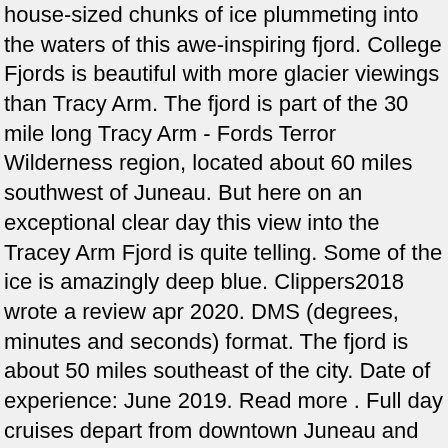house-sized chunks of ice plummeting into the waters of this awe-inspiring fjord. College Fjords is beautiful with more glacier viewings than Tracy Arm. The fjord is part of the 30 mile long Tracy Arm - Fords Terror Wilderness region, located about 60 miles southwest of Juneau. But here on an exceptional clear day this view into the Tracey Arm Fjord is quite telling. Some of the ice is amazingly deep blue. Clippers2018 wrote a review apr 2020. DMS (degrees, minutes and seconds) format. The fjord is about 50 miles southeast of the city. Date of experience: June 2019. Read more . Full day cruises depart from downtown Juneau and includes Alaska's greatest combination of mountains, waterfalls, wildlife, glaciers and icebergs. Satellite map of Tracy Arm. We do not guarantee the accuracy of the given coordinates of the places in our database. People were up … 2.880 Bewertungen. 1 von 66 Aktivitäten in Juneau. Although mostly covered in western hemlock and Sitka spruce, some bare rocky outcroppings may reveal black and brown bear, deer, wolves, and moose. In United States Map of Tracy Arm